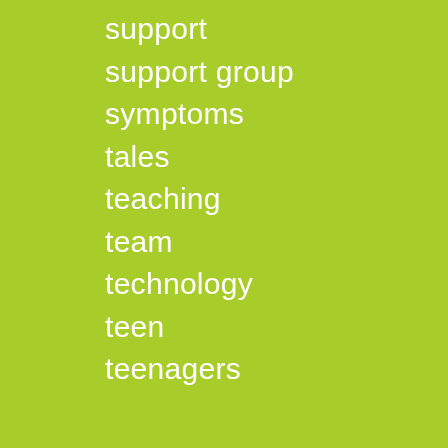support
support group
symptoms
tales
teaching
team
technology
teen
teenagers